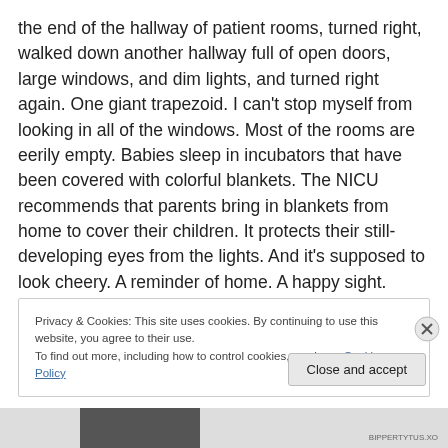the end of the hallway of patient rooms, turned right, walked down another hallway full of open doors, large windows, and dim lights, and turned right again.  One giant trapezoid.  I can't stop myself from looking in all of the windows.  Most of the rooms are eerily empty.  Babies sleep in incubators that have been covered with colorful blankets.  The NICU recommends that parents bring in blankets from home to cover their children. It protects their still-developing eyes from the lights.  And it's supposed to look cheery.  A reminder of home.  A happy sight.
Privacy & Cookies: This site uses cookies. By continuing to use this website, you agree to their use.
To find out more, including how to control cookies, see here: Cookie Policy